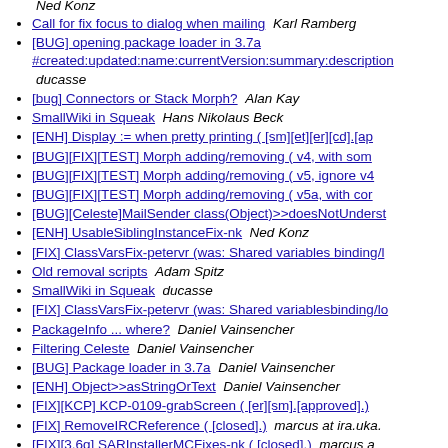Ned Konz
Call for fix focus to dialog when mailing   Karl Ramberg
[BUG] opening package loader in 3.7a #created:updated:name:currentVersion:summary:description   ducasse
[bug] Connectors or Stack Morph?   Alan Kay
SmallWiki in Squeak   Hans Nikolaus Beck
[ENH] Display := when pretty printing ( [sm][et][er][cd].[ap
[BUG][FIX][TEST] Morph adding/removing ( v4, with som
[BUG][FIX][TEST] Morph adding/removing ( v5, ignore v4
[BUG][FIX][TEST] Morph adding/removing ( v5a, with cor
[BUG][Celeste]MailSender class(Object)>>doesNotUnderst
[ENH] UsableSiblingInstanceFix-nk   Ned Konz
[FIX] ClassVarsFix-petervr (was: Shared variables binding/l
Old removal scripts   Adam Spitz
SmallWiki in Squeak   ducasse
[FIX] ClassVarsFix-petervr (was: Shared variablesbinding/lo
PackageInfo ... where?   Daniel Vainsencher
Filtering Celeste   Daniel Vainsencher
[BUG] Package loader in 3.7a   Daniel Vainsencher
[ENH] Object>>asStringOrText   Daniel Vainsencher
[FIX][KCP] KCP-0109-grabScreen ( [er][sm].[approved].)
[FIX] RemoveIRCReference ( [closed].)   marcus at ira.uka.
[FIX][3.6g] SARInstallerMCFixes-nk ( [closed].)   marcus a
[FIX] SARInstallerNoLoadDVS-nk ( [closed].)   marcus at i
[BUG][FIX] Installing SM1.07 in 3.6b 5353 ( [closed].)